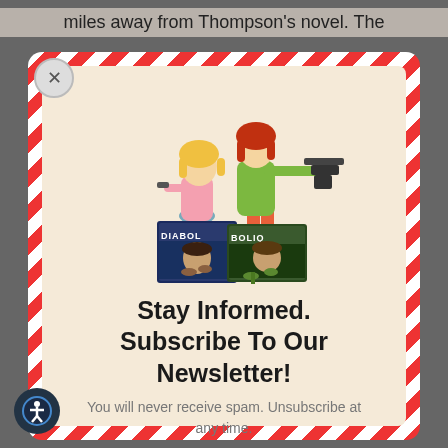miles away from Thompson's novel. The
[Figure (screenshot): Newsletter subscription modal popup with red and white diagonal stripe border, illustration of two women with weapons standing in front of comic book covers (Diabolik/Bolique), and subscription call to action text]
Stay Informed. Subscribe To Our Newsletter!
You will never receive spam. Unsubscribe at any time.